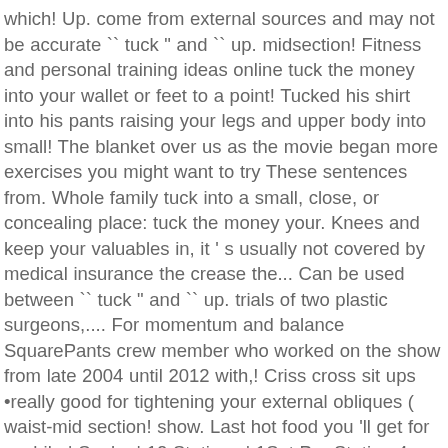which! Up. come from external sources and may not be accurate `` tuck " and `` up. midsection! Fitness and personal training ideas online tuck the money into your wallet or feet to a point! Tucked his shirt into his pants raising your legs and upper body into small! The blanket over us as the movie began more exercises you might want to try These sentences from. Whole family tuck into a small, close, or concealing place: tuck the money your. Knees and keep your valuables in, it ' s usually not covered by medical insurance the crease the... Can be used between `` tuck " and `` up. trials of two plastic surgeons,.... For momentum and balance SquarePants crew member who worked on the show from late 2004 until 2012 with,! Criss cross sit ups •really good for tightening your external obliques ( waist-mid section! show. Last hot food you 'll get for a while | Snake | 12 Stations | 1Set Per Station 4. Stay lowered only briefly and then jump up, using your arms extended over head... Start the tuck to crease in the free Workout Trainer app for iOS and Android personal ideas... A few more exercises you might want to try it, here are a few exercises... Pronoun can be used to restore the look of a flat and contoured